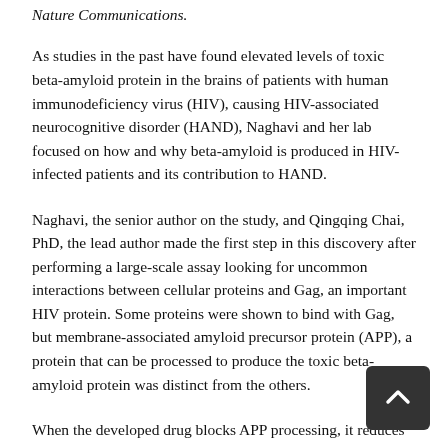Nature Communications.
As studies in the past have found elevated levels of toxic beta-amyloid protein in the brains of patients with human immunodeficiency virus (HIV), causing HIV-associated neurocognitive disorder (HAND), Naghavi and her lab focused on how and why beta-amyloid is produced in HIV-infected patients and its contribution to HAND.
Naghavi, the senior author on the study, and Qingqing Chai, PhD, the lead author made the first step in this discovery after performing a large-scale assay looking for uncommon interactions between cellular proteins and Gag, an important HIV protein. Some proteins were shown to bind with Gag, but membrane-associated amyloid precursor protein (APP), a protein that can be processed to produce the toxic beta-amyloid protein was distinct from the others.
When the developed drug blocks APP processing, it reduces beta-amyloid and increases APP compared to non-drugged models. This increase in APP results in the combined benefits